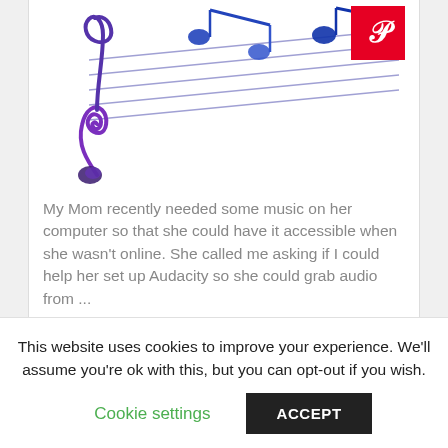[Figure (illustration): Decorative music illustration with a treble clef and musical notes in blue and purple tones on a white background, with a Pinterest badge in the top right corner.]
My Mom recently needed some music on her computer so that she could have it accessible when she wasn't online. She called me asking if I could help her set up Audacity so she could grab audio from ...
Tutorials
How To Create Font from Your Handwriting
This website uses cookies to improve your experience. We'll assume you're ok with this, but you can opt-out if you wish.